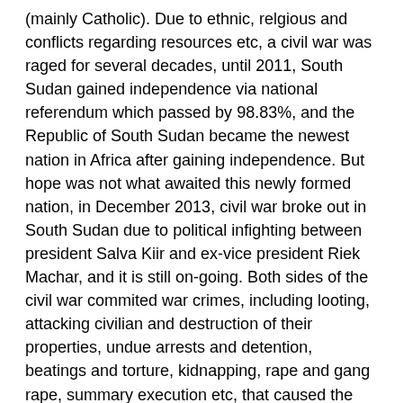(mainly Catholic). Due to ethnic, relgious and conflicts regarding resources etc, a civil war was raged for several decades, until 2011, South Sudan gained independence via national referendum which passed by 98.83%, and the Republic of South Sudan became the newest nation in Africa after gaining independence. But hope was not what awaited this newly formed nation, in December 2013, civil war broke out in South Sudan due to political infighting between president Salva Kiir and ex-vice president Riek Machar, and it is still on-going. Both sides of the civil war commited war crimes, including looting, attacking civilian and destruction of their properties, undue arrests and detention, beatings and torture, kidnapping, rape and gang rape, summary execution etc, that caused the people to unable to make a living and fleeing everywher. 2 million refugees are stuck in neighboring nations, and both sides of the civil war failed to reach a ceasefire, and even international humanitarian aid have been stopped, since the lives of aid workers are at risk. The non-stop civil war has caused South Sudan unspeakable